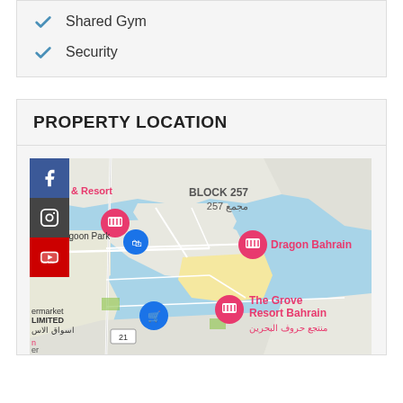Shared Gym
Security
PROPERTY LOCATION
[Figure (map): Google Maps view of Bahrain showing Block 257, Dragon Bahrain hotel marker, The Grove Resort Bahrain marker, Lagoon Park area, and surrounding waterways. Social media sidebar icons (Facebook, Instagram, YouTube) visible on left edge.]